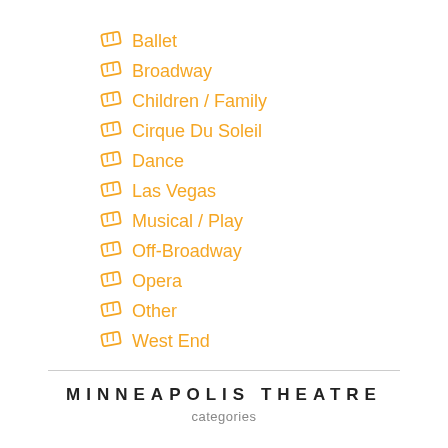Ballet
Broadway
Children / Family
Cirque Du Soleil
Dance
Las Vegas
Musical / Play
Off-Broadway
Opera
Other
West End
MINNEAPOLIS THEATRE
categories